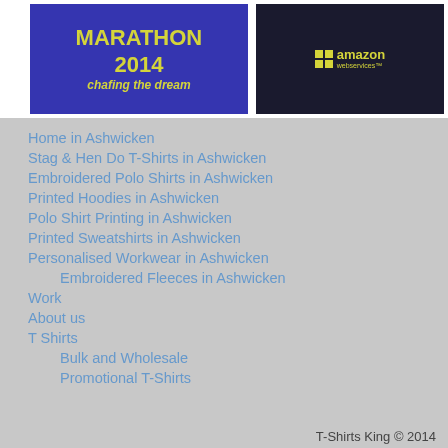[Figure (photo): Blue t-shirt with yellow text reading 'MARATHON 2014 chafing the dream']
[Figure (photo): Dark navy jacket with Amazon Web Services logo embroidered in yellow]
Home in Ashwicken
Stag & Hen Do T-Shirts in Ashwicken
Embroidered Polo Shirts in Ashwicken
Printed Hoodies in Ashwicken
Polo Shirt Printing in Ashwicken
Printed Sweatshirts in Ashwicken
Personalised Workwear in Ashwicken
Embroidered Fleeces in Ashwicken
Work
About us
T Shirts
Bulk and Wholesale
Promotional T-Shirts
T-Shirts King © 2014